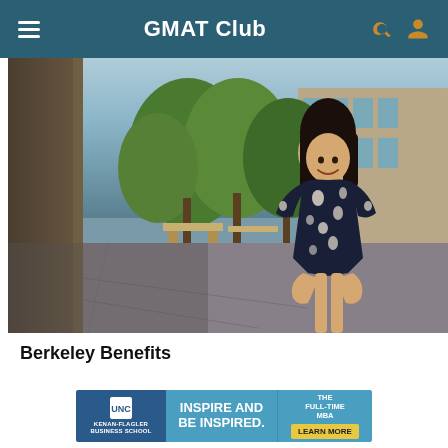GMAT Club
[Figure (photo): Woman in navy floral dress smiling outdoors in front of a campus building with green trees]
Berkeley Benefits
[Figure (infographic): UNC Kenan-Flagler Business School advertisement banner: INSPIRE AND BE INSPIRED. THE FULL-TIME MBA. LEARN MORE]